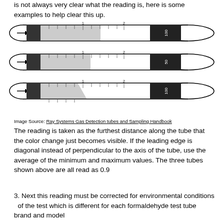is not always very clear what the reading is, here is some examples to help clear this up.
[Figure (illustration): Three gas detection tube diagrams showing color change readings, each read as 0.9]
Image Source: Ray Systems Gas Detection tubes and Sampling Handbook
The reading is taken as the furthest distance along the tube that the color change just becomes visible. If the leading edge is diagonal instead of perpendicular to the axis of the tube, use the average of the minimum and maximum values. The three tubes shown above are all read as 0.9
3. Next this reading must be corrected for environmental conditions  of the test which is different for each formaldehyde test tube brand and model